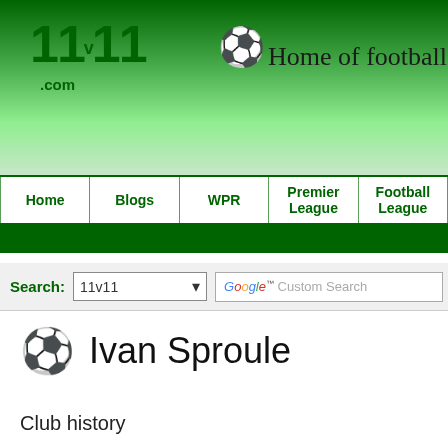11v11.com - Home of football statistics an...
Home | Blogs | WPR | Premier League | Football League
Search: 11v11 | Google Custom Search
Ivan Sproule
Club history